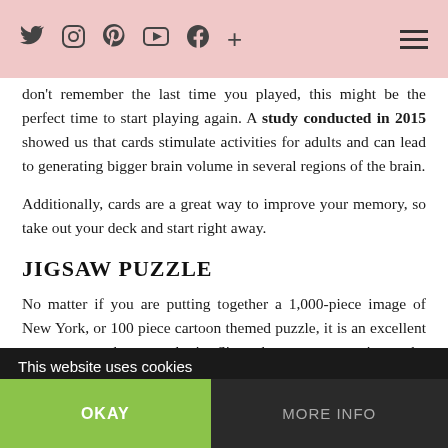Social media icons (Twitter, Instagram, Pinterest, YouTube, Facebook, Plus) and hamburger menu
don't remember the last time you played, this might be the perfect time to start playing again. A study conducted in 2015 showed us that cards stimulate activities for adults and can lead to generating bigger brain volume in several regions of the brain.
Additionally, cards are a great way to improve your memory, so take out your deck and start right away.
JIGSAW PUZZLE
No matter if you are putting together a 1,000-piece image of New York, or 100 piece cartoon themed puzzle, it is an excellent way to strengthen your brain. Since there are many pieces, the process of figuring out where they fit recruits multiple cognitive abilities, as well as visuospatial cognitive, to put it differently, the challenge of completing a jigsaw puzzle is like taking your brain to the gym for an exercise.
This website uses cookies | OKAY | MORE INFO